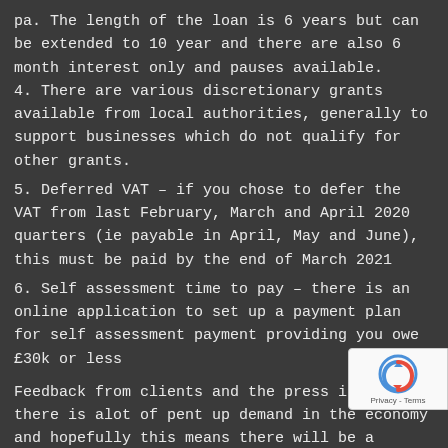pa. The length of the loan is 6 years but can be extended to 10 year and there are also 6 month interest only and pauses available.
4. There are various discretionary grants available from local authorities, generally to support businesses which do not qualify for other grants.
5. Deferred VAT – if you chose to defer the VAT from last February, March and April 2020 quarters (ie payable in April, May and June), this must be paid by the end of March 2021
6. Self assessment time to pay – there is an online application to set up a payment plan for self assessment payment providing you owe £30k or less
Feedback from clients and the press indicates there is alot of pent up demand in the economy and hopefully this means there will be a strong return as lockdown is eased, and infections are